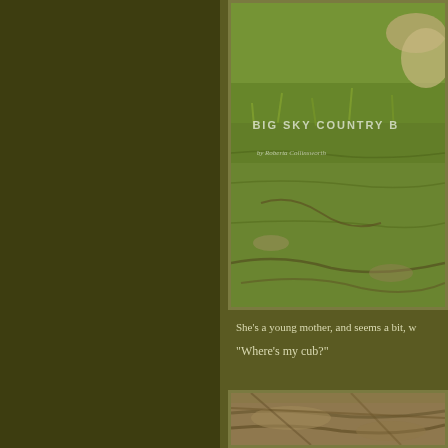[Figure (photo): Photo of grassy rocky terrain with book title overlay 'BIG SKY COUNTRY B' and subtitle text, appears to be a book cover image]
She’s a young mother, and seems a bit, w
“Where’s my cub?”
[Figure (photo): Close-up photo of rocky/woody terrain, bottom portion of page]